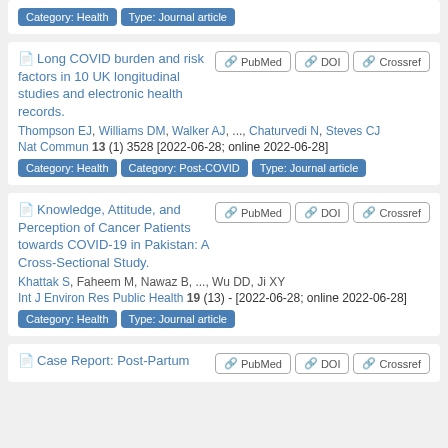Category: Health | Type: Journal article (top card partial)
Long COVID burden and risk factors in 10 UK longitudinal studies and electronic health records. Thompson EJ, Williams DM, Walker AJ, ..., Chaturvedi N, Steves CJ. Nat Commun 13 (1) 3528 [2022-06-28; online 2022-06-28]. Category: Health | Category: Post-COVID | Type: Journal article
Knowledge, Attitude, and Perception of Cancer Patients towards COVID-19 in Pakistan: A Cross-Sectional Study. Khattak S, Faheem M, Nawaz B, ..., Wu DD, Ji XY. Int J Environ Res Public Health 19 (13) - [2022-06-28; online 2022-06-28]. Category: Health | Type: Journal article
Case Report: Post-Partum [partial]